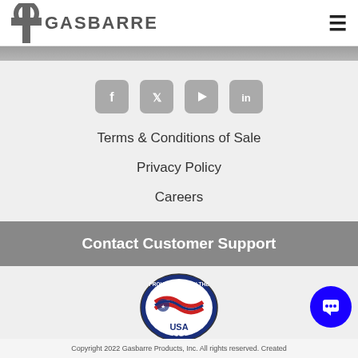GASBARRE
[Figure (logo): Social media icons: Facebook, Twitter, YouTube, LinkedIn — rounded square gray icons]
Terms & Conditions of Sale
Privacy Policy
Careers
Contact Customer Support
[Figure (logo): Proudly Made in the USA badge with American flag design]
[Figure (other): Blue circular chat support button with speech bubble icon]
Copyright 2022 Gasbarre Products, Inc. All rights reserved. Created